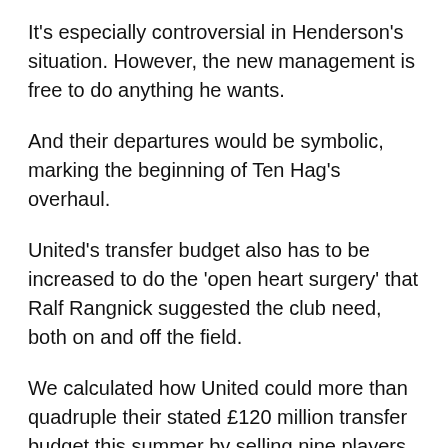It's especially controversial in Henderson's situation. However, the new management is free to do anything he wants.
And their departures would be symbolic, marking the beginning of Ten Hag's overhaul.
United's transfer budget also has to be increased to do the 'open heart surgery' that Ralf Rangnick suggested the club need, both on and off the field.
We calculated how United could more than quadruple their stated £120 million transfer budget this summer by selling nine players for £120 million.
Henderson, Wan-Bissaka and Bailly make up a substantial part of this, and selling them early, would help Manchester